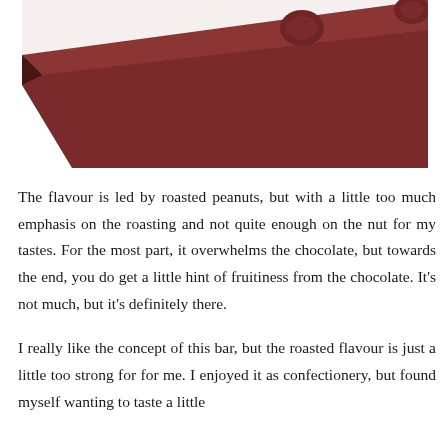[Figure (photo): Close-up photograph of a dark reddish-brown chocolate bar surface, showing the edge and top face with slight circular indentations, on a white background.]
The flavour is led by roasted peanuts, but with a little too much emphasis on the roasting and not quite enough on the nut for my tastes. For the most part, it overwhelms the chocolate, but towards the end, you do get a little hint of fruitiness from the chocolate. It's not much, but it's definitely there.
I really like the concept of this bar, but the roasted flavour is just a little too strong for for me. I enjoyed it as confectionery, but found myself wanting to taste a little